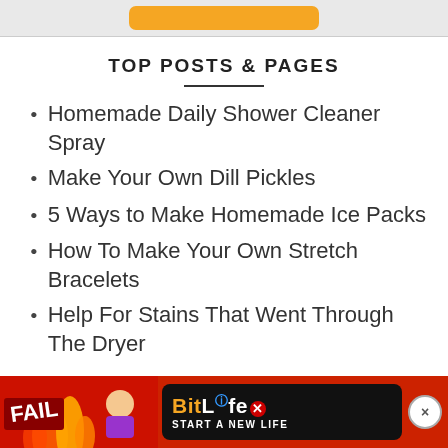[Figure (other): Orange button partially visible at top of page on gray background banner]
TOP POSTS & PAGES
Homemade Daily Shower Cleaner Spray
Make Your Own Dill Pickles
5 Ways to Make Homemade Ice Packs
How To Make Your Own Stretch Bracelets
Help For Stains That Went Through The Dryer
[Figure (screenshot): BitLife advertisement banner at bottom of page with FAIL text, cartoon girl, flames, and START A NEW LIFE tagline]